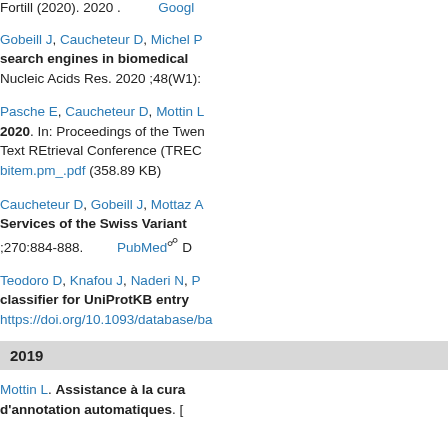Fortill (2020). 2020 .   Google
Gobeill J, Caucheteur D, Michel P... search engines in biomedical... Nucleic Acids Res. 2020 ;48(W1):
Pasche E, Caucheteur D, Mottin L... 2020. In: Proceedings of the Twen... Text REtrieval Conference (TREC... bitem.pm_.pdf (358.89 KB)
Caucheteur D, Gobeill J, Mottaz A... Services of the Swiss Variant... ;270:884-888.   PubMed D
Teodoro D, Knafou J, Naderi N, P... classifier for UniProtKB entry... https://doi.org/10.1093/database/ba
2019
Mottin L. Assistance à la cura... d'annotation automatiques. [